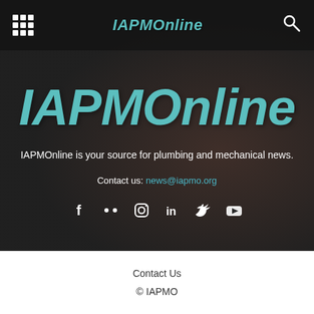IAPMOnline
[Figure (logo): IAPMOnline large italic teal logo text on dark background]
IAPMOnline is your source for plumbing and mechanical news.
Contact us: news@iapmo.org
[Figure (infographic): Social media icons: Facebook, Flickr, Instagram, LinkedIn, Twitter, YouTube]
Contact Us
© IAPMO